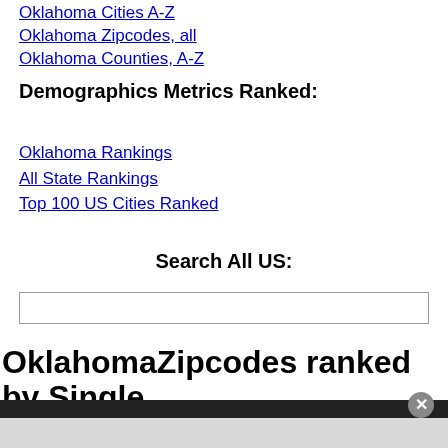Oklahoma Cities A-Z
Oklahoma Zipcodes, all
Oklahoma Counties, A-Z
Demographics Metrics Ranked:
Oklahoma Rankings
All State Rankings
Top 100 US Cities Ranked
Search All US:
OklahomaZipcodes ranked by Single